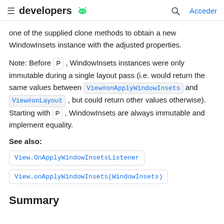developers [android logo] | Acceder
one of the supplied clone methods to obtain a new WindowInsets instance with the adjusted properties.
Note: Before P , WindowInsets instances were only immutable during a single layout pass (i.e. would return the same values between View#onApplyWindowInsets and View#onLayout , but could return other values otherwise). Starting with P , WindowInsets are always immutable and implement equality.
See also:
View.OnApplyWindowInsetsListener
View.onApplyWindowInsets(WindowInsets)
Summary